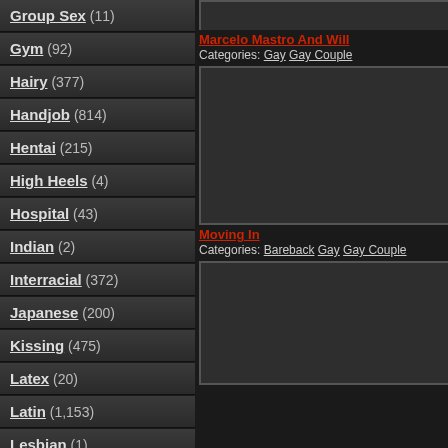Group Sex (11)
Gym (92)
Hairy (377)
Handjob (814)
Hentai (215)
High Heels (4)
Hospital (43)
Indian (2)
Interracial (372)
Japanese (200)
Kissing (475)
Latex (20)
Latin (1,153)
Lesbian (1)
Licking Vagina (5)
Lingerie (24)
Maid (1)
Marcelo Mastro And Will
Categories: Gay Gay Couple
[Figure (photo): Video thumbnail placeholder dark gray]
Moving In
Categories: Bareback Gay Gay Couple
[Figure (photo): Video thumbnail placeholder dark gray]
[Figure (photo): Video thumbnail placeholder dark gray (partial bottom)]